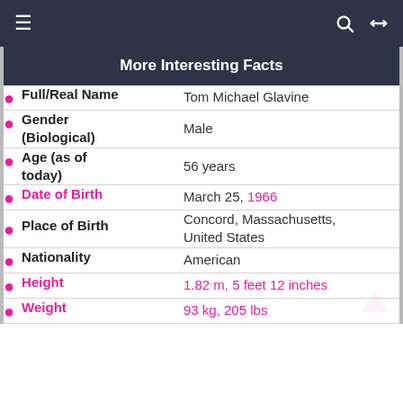≡  🔍  ⇄
More Interesting Facts
| Field | Value |
| --- | --- |
| Full/Real Name | Tom Michael Glavine |
| Gender (Biological) | Male |
| Age (as of today) | 56 years |
| Date of Birth | March 25, 1966 |
| Place of Birth | Concord, Massachusetts, United States |
| Nationality | American |
| Height | 1.82 m, 5 feet 12 inches |
| Weight | 93 kg, 205 lbs |